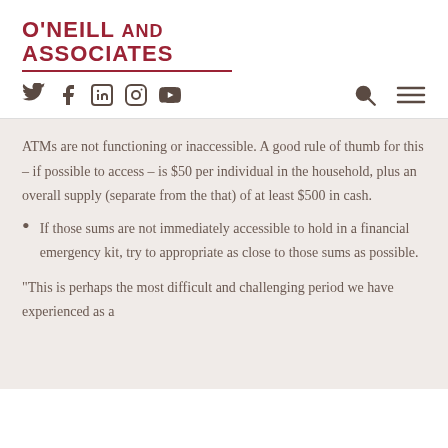O'Neill and Associates
ATMs are not functioning or inaccessible. A good rule of thumb for this – if possible to access – is $50 per individual in the household, plus an overall supply (separate from the that) of at least $500 in cash.
If those sums are not immediately accessible to hold in a financial emergency kit, try to appropriate as close to those sums as possible.
“This is perhaps the most difficult and challenging period we have experienced as a